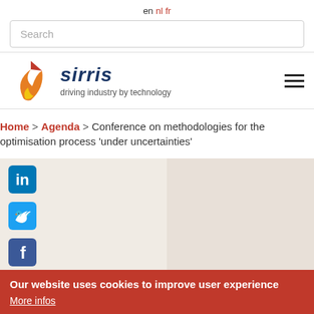en nl fr
Search
[Figure (logo): Sirris logo with flame/bird graphic and tagline 'driving industry by technology']
Home > Agenda > Conference on methodologies for the optimisation process 'under uncertainties'
[Figure (other): LinkedIn, Twitter, Facebook social share icons on left column; beige/tan area on right]
Our website uses cookies to improve user experience
More infos